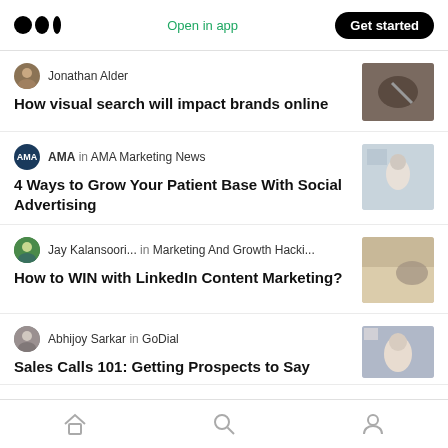Medium — Open in app — Get started
Jonathan Alder
How visual search will impact brands online
AMA in AMA Marketing News
4 Ways to Grow Your Patient Base With Social Advertising
Jay Kalansoori... in Marketing And Growth Hacki...
How to WIN with LinkedIn Content Marketing?
Abhijoy Sarkar in GoDial
Sales Calls 101: Getting Prospects to Say